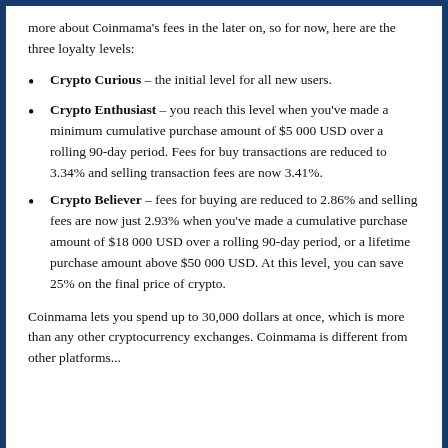more about Coinmama's fees in the later on, so for now, here are the three loyalty levels:
Crypto Curious – the initial level for all new users.
Crypto Enthusiast – you reach this level when you've made a minimum cumulative purchase amount of $5 000 USD over a rolling 90-day period. Fees for buy transactions are reduced to 3.34% and selling transaction fees are now 3.41%.
Crypto Believer – fees for buying are reduced to 2.86% and selling fees are now just 2.93% when you've made a cumulative purchase amount of $18 000 USD over a rolling 90-day period, or a lifetime purchase amount above $50 000 USD. At this level, you can save 25% on the final price of crypto.
Coinmama lets you spend up to 30,000 dollars at once, which is more than any other cryptocurrency exchanges. Coinmama is different from other platforms...